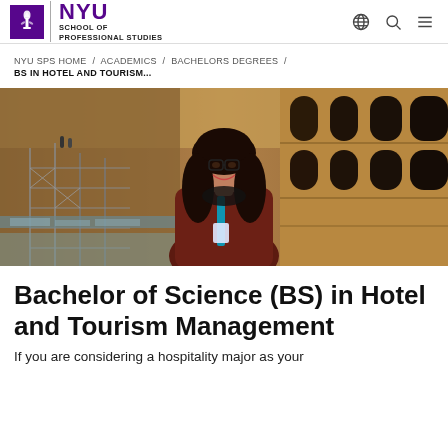NYU | SCHOOL OF PROFESSIONAL STUDIES
NYU SPS HOME / ACADEMICS / BACHELORS DEGREES / BS IN HOTEL AND TOURISM...
[Figure (photo): A young woman with long curly dark hair and glasses, smiling, wearing a dark red top and a teal lanyard, standing inside the Colosseum in Rome with scaffolding and ancient stone arches behind her.]
Bachelor of Science (BS) in Hotel and Tourism Management
If you are considering a hospitality major as your